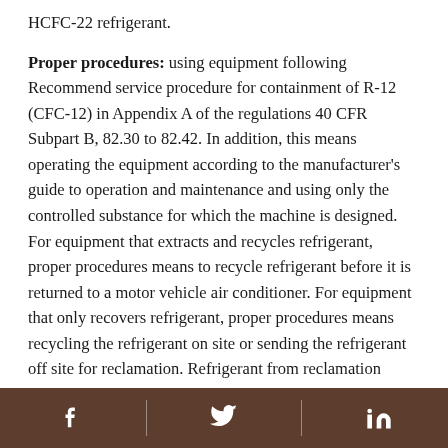HCFC-22 refrigerant.
Proper procedures: using equipment following Recommend service procedure for containment of R-12 (CFC-12) in Appendix A of the regulations 40 CFR Subpart B, 82.30 to 82.42. In addition, this means operating the equipment according to the manufacturer's guide to operation and maintenance and using only the controlled substance for which the machine is designed. For equipment that extracts and recycles refrigerant, proper procedures means to recycle refrigerant before it is returned to a motor vehicle air conditioner. For equipment that only recovers refrigerant, proper procedures means recycling the refrigerant on site or sending the refrigerant off site for reclamation. Refrigerant from reclamation facilities that is used for recharging
Facebook | Twitter | LinkedIn